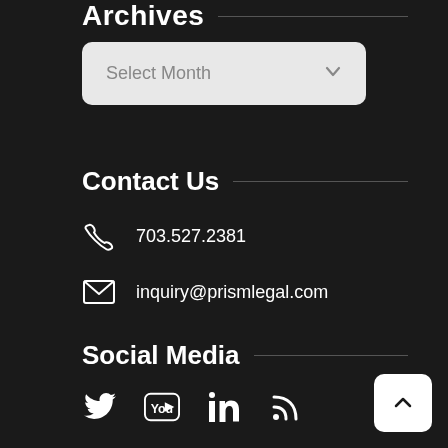Archives
Select Month
Contact Us
703.527.2381
inquiry@prismlegal.com
Social Media
[Figure (other): Social media icons: Twitter, YouTube, LinkedIn, RSS feed]